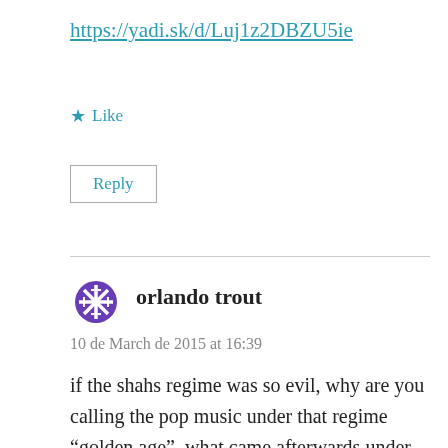https://yadi.sk/d/Luj1z2DBZU5ie
★ Like
Reply
orlando trout
10 de March de 2015 at 16:39
if the shahs regime was so evil, why are you calling the pop music under that regime "golden age", what came afterwards under the ayatollah was a thousands times worse. women covered, no music at all, onlu black mourning. a 10 year